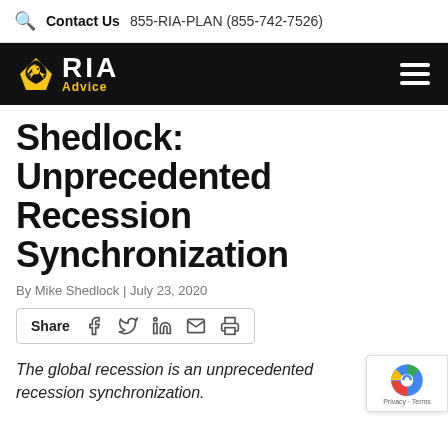Contact Us  855-RIA-PLAN (855-742-7526)
[Figure (logo): RIA Advice logo with eagle on black navigation bar and hamburger menu icon]
Shedlock: Unprecedented Recession Synchronization
By Mike Shedlock | July 23, 2020
Share [Facebook] [Twitter] [LinkedIn] [Email] [Print]
The global recession is an unprecedented recession synchronization.